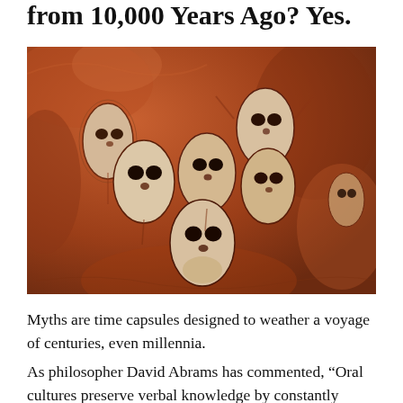from 10,000 Years Ago? Yes.
[Figure (photo): Ancient Aboriginal rock art painting showing multiple Wandjina spirit figures with large oval white faces, dark eyes, and no mouths, painted on reddish-brown rock surface. Several figures are grouped together.]
Myths are time capsules designed to weather a voyage of centuries, even millennia.
As philosopher David Abrams has commented, “Oral cultures preserve verbal knowledge by constantly